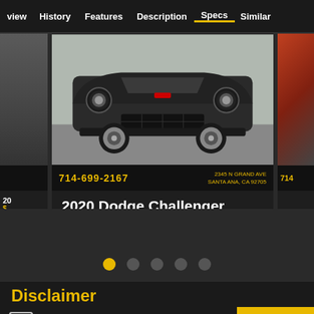view  History  Features  Description  Specs  Similar
[Figure (photo): 2020 Dodge Challenger car listing carousel showing front/low angle of a dark gray Dodge Challenger muscle car with dealer phone number 714-699-2167 and address 2345 N Grand Ave, Santa Ana, CA 92705]
2020 Dodge Challenger
$37,999  $38,999
11,922 miles
Disclaimer
SHOPPING TOOLS